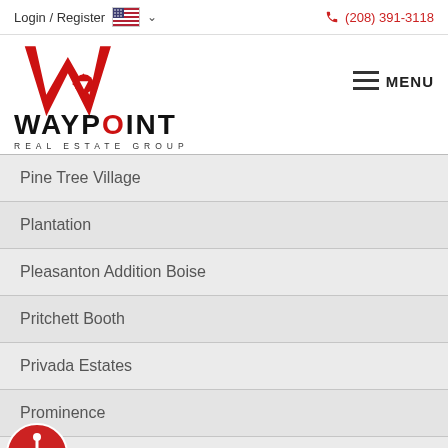Login / Register   (208) 391-3118
[Figure (logo): Waypoint Real Estate Group logo with red W and black text]
Pine Tree Village
Plantation
Pleasanton Addition Boise
Pritchett Booth
Privada Estates
Prominence
Promontory Ridge
Providence Place